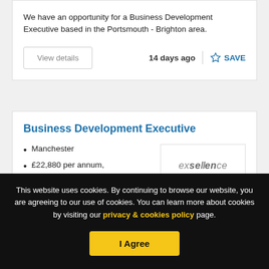We have an opportunity for a Business Development Executive based in the Portsmouth - Brighton area.
14 days ago
SAVE
Business Development Executive
Manchester
£22,880 per annum,
[Figure (logo): exsellence company logo in grey italic text]
This website uses cookies. By continuing to browse our website, you are agreeing to our use of cookies. You can learn more about cookies by visiting our privacy & cookies policy page.